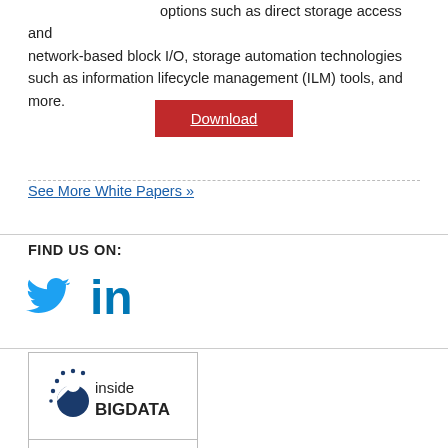options such as direct storage access and network-based block I/O, storage automation technologies such as information lifecycle management (ILM) tools, and more.
Download
See More White Papers »
FIND US ON:
[Figure (logo): Twitter bird icon in blue]
[Figure (logo): LinkedIn 'in' logo in blue]
[Figure (logo): Inside BIGDATA logo with icon]
WHITE